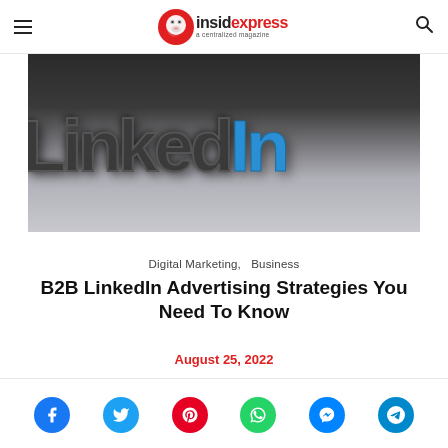insidexpress — a centralized magazine
[Figure (photo): Close-up photo of 3D LinkedIn logo letters in dark metallic and blue colors on a light surface]
Digital Marketing,   Business
B2B LinkedIn Advertising Strategies You Need To Know
August 25, 2022
[Figure (infographic): Social share buttons row: Facebook, Twitter, Pinterest, WhatsApp, Messenger, Telegram]